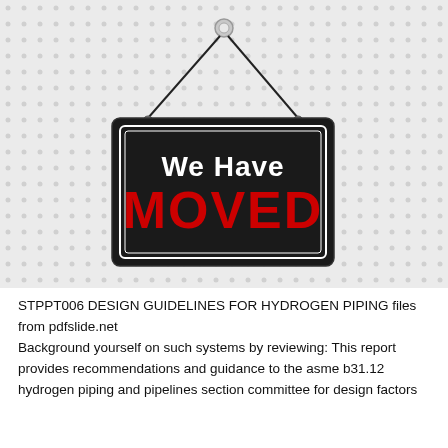[Figure (illustration): A hanging black rectangular sign with white border. White text at top reads 'We Have' and large bold red text below reads 'MOVED'. The sign hangs from a hook via two diagonal strings, on a light grey dotted background.]
STPPT006 DESIGN GUIDELINES FOR HYDROGEN PIPING files from pdfslide.net
Background yourself on such systems by reviewing: This report provides recommendations and guidance to the asme b31.12 hydrogen piping and pipelines section committee for design factors